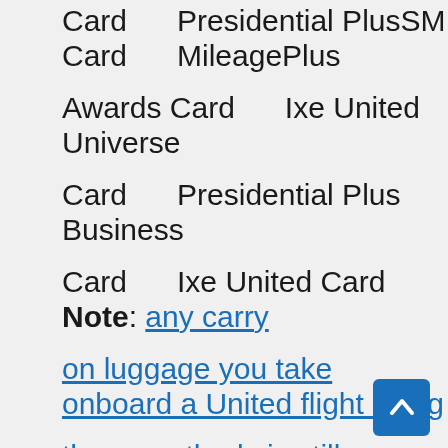Card      Presidential PlusSM Card      MileagePlus Awards Card      Ixe United Universe Card      Presidential Plus Business Card      Ixe United Card      Note: any carry on luggage you take onboard a United flight using these methods is still restricted by United carry on size and number restrictions, and the items within it are restricted by the United carry on item regulations.
2. Be an Elite Traveler with United